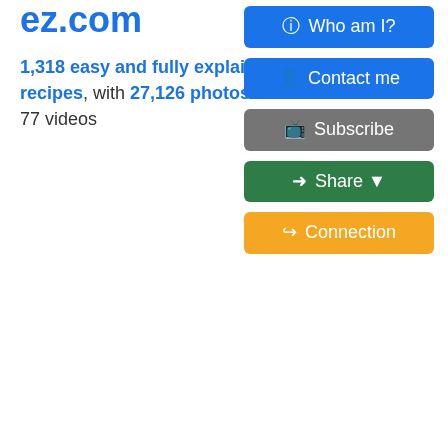ez.com
1,318 easy and fully explained recipes, with 27,126 photos and 77 videos
[Figure (screenshot): Navigation buttons: Who am I?, Contact me, Subscribe, Share, Connection]